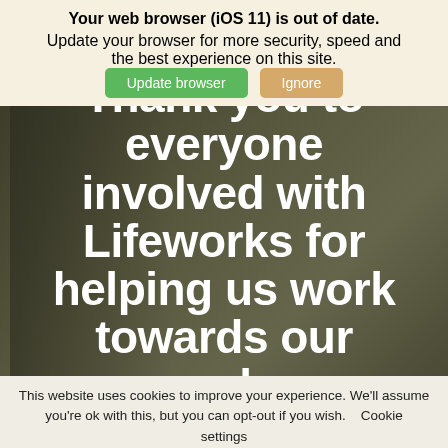Your web browser (iOS 11) is out of date.
Update your browser for more security, speed and the best experience on this site.
[Figure (screenshot): Two buttons: green 'Update browser' and tan/gold 'Ignore']
[Figure (photo): Dark background hero image with person silhouette, overlaid with large bold white text reading: Thank you to everyone involved with Lifeworks for helping us work towards our goals.]
This website uses cookies to improve your experience. We'll assume you're ok with this, but you can opt-out if you wish.    Cookie settings
ACCEPT